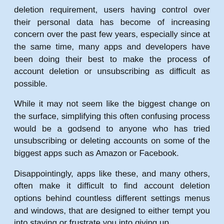deletion requirement, users having control over their personal data has become of increasing concern over the past few years, especially since at the same time, many apps and developers have been doing their best to make the process of account deletion or unsubscribing as difficult as possible.
While it may not seem like the biggest change on the surface, simplifying this often confusing process would be a godsend to anyone who has tried unsubscribing or deleting accounts on some of the biggest apps such as Amazon or Facebook.
Disappointingly, apps like these, and many others, often make it difficult to find account deletion options behind countless different settings menus and windows, that are designed to either tempt you into staying or frustrate you into giving up.
As a result, Apple mandating an account deletion option that “should be easy to find in your app” is great progress for those users who tire of wading through those countless frustrating menus and pop-ups anytime they want to leave a service they’re finished with.